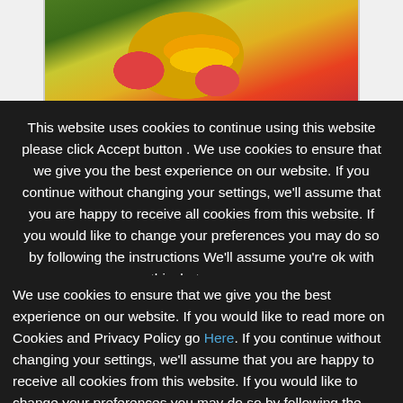[Figure (photo): Top portion of a webpage showing colorful fruits and vegetables including spinach/greens, strawberries, orange slice, and juice bottles on a white background. Partial view cut off at top.]
This website uses cookies to continue using this website please click Accept button . We use cookies to ensure that we give you the best experience on our website. If you continue without changing your settings, we'll assume that you are happy to receive all cookies from this website. If you would like to change your preferences you may do so by following the instructions We'll assume you're ok with this, but you can opt-out if you wish.
Cookie settings
ACCEPT
We use cookies to ensure that we give you the best experience on our website. If you would like to read more on Cookies and Privacy Policy go Here. If you continue without changing your settings, we'll assume that you are happy to receive all cookies from this website. If you would like to change your preferences you may do so by following the instructions here.